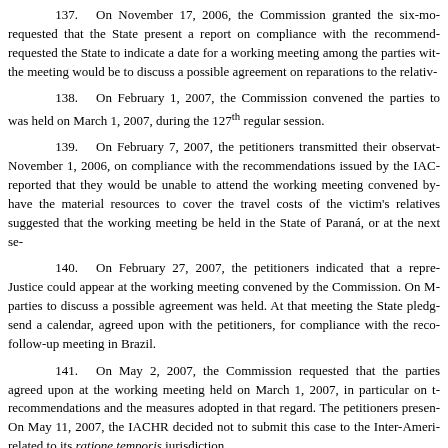137. On November 17, 2006, the Commission granted the six-month extension requested that the State present a report on compliance with the recommendations, requested the State to indicate a date for a working meeting among the parties with the meeting would be to discuss a possible agreement on reparations to the relatives.
138. On February 1, 2007, the Commission convened the parties to a meeting that was held on March 1, 2007, during the 127th regular session.
139. On February 7, 2007, the petitioners transmitted their observations dated November 1, 2006, on compliance with the recommendations issued by the IACHR, reported that they would be unable to attend the working meeting convened by have the material resources to cover the travel costs of the victim's relatives suggested that the working meeting be held in the State of Paraná, or at the next session.
140. On February 27, 2007, the petitioners indicated that a representative from Justice could appear at the working meeting convened by the Commission. On March 1 parties to discuss a possible agreement was held. At that meeting the State pledged to send a calendar, agreed upon with the petitioners, for compliance with the recommendations and a follow-up meeting in Brazil.
141. On May 2, 2007, the Commission requested that the parties report on the items agreed upon at the working meeting held on March 1, 2007, in particular on the recommendations and the measures adopted in that regard. The petitioners presented a response. On May 11, 2007, the IACHR decided not to submit this case to the Inter-American Court related to its ratione temporis jurisdiction.
142. On May 18, 2007, the State provided a copy of the Sentença related to the murder of Sebastião Camargo and reported on the compliance with recommendations.